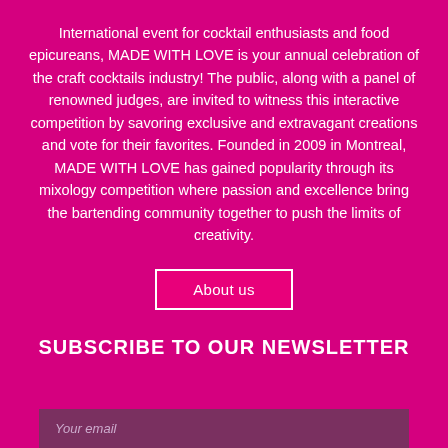International event for cocktail enthusiasts and food epicureans, MADE WITH LOVE is your annual celebration of the craft cocktails industry! The public, along with a panel of renowned judges, are invited to witness this interactive competition by savoring exclusive and extravagant creations and vote for their favorites. Founded in 2009 in Montreal, MADE WITH LOVE has gained popularity through its mixology competition where passion and excellence bring the bartending community together to push the limits of creativity.
About us
SUBSCRIBE TO OUR NEWSLETTER
Your email